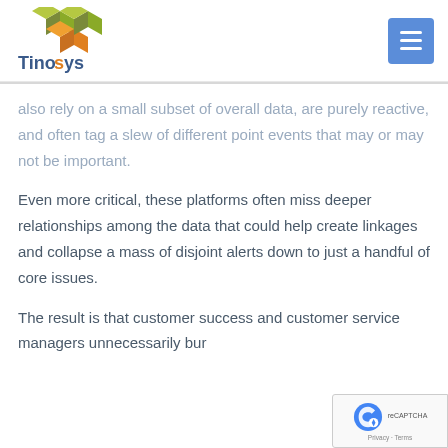[Figure (logo): Tinosys logo with geometric cube shapes in green and orange, with the company name 'Tinosys' below]
also rely on a small subset of overall data, are purely reactive, and often tag a slew of different point events that may or may not be important.
Even more critical, these platforms often miss deeper relationships among the data that could help create linkages and collapse a mass of disjoint alerts down to just a handful of core issues.
The result is that customer success and customer service managers unnecessarily bur...